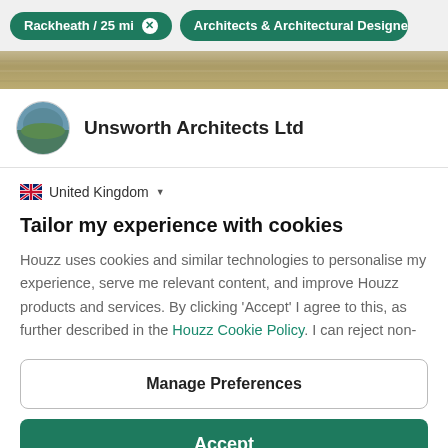Rackheath / 25 mi  ×    Architects & Architectural Designers  ×
[Figure (photo): Landscape banner image strip showing a garden or countryside scene in muted olive/gold tones]
Unsworth Architects Ltd
🇬🇧 United Kingdom ▾
Tailor my experience with cookies
Houzz uses cookies and similar technologies to personalise my experience, serve me relevant content, and improve Houzz products and services. By clicking 'Accept' I agree to this, as further described in the Houzz Cookie Policy. I can reject non-
Manage Preferences
Accept